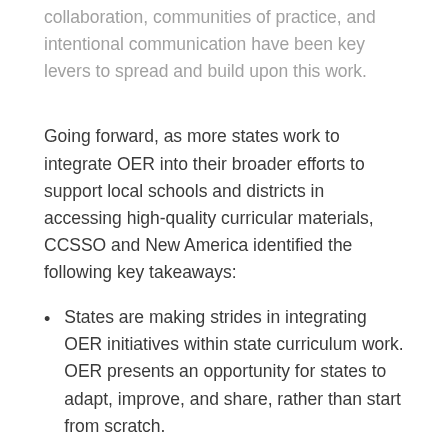collaboration, communities of practice, and intentional communication have been key levers to spread and build upon this work.
Going forward, as more states work to integrate OER into their broader efforts to support local schools and districts in accessing high-quality curricular materials, CCSSO and New America identified the following key takeaways:
States are making strides in integrating OER initiatives within state curriculum work. OER presents an opportunity for states to adapt, improve, and share, rather than start from scratch.